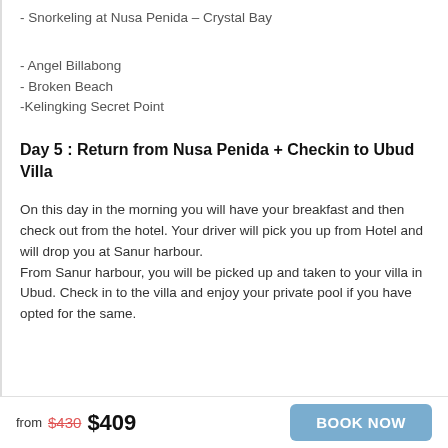- Snorkeling at Nusa Penida – Crystal Bay
- Angel Billabong
- Broken Beach
-Kelingking Secret Point
Day 5 : Return from Nusa Penida + Checkin to Ubud Villa
On this day in the morning you will have your breakfast and then check out from the hotel. Your driver will pick you up from Hotel and will drop you at Sanur harbour.
From Sanur harbour, you will be picked up and taken to your villa in Ubud. Check in to the villa and enjoy your private pool if you have opted for the same.
from $430 $409  BOOK NOW